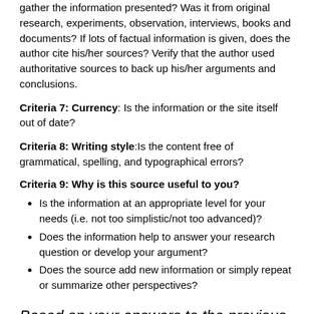gather the information presented? Was it from original research, experiments, observation, interviews, books and documents? If lots of factual information is given, does the author cite his/her sources? Verify that the author used authoritative sources to back up his/her arguments and conclusions.
Criteria 7: Currency: Is the information or the site itself out of date?
Criteria 8: Writing style:Is the content free of grammatical, spelling, and typographical errors?
Criteria 9: Why is this source useful to you?
Is the information at an appropriate level for your needs (i.e. not too simplistic/not too advanced)?
Does the information help to answer your research question or develop your argument?
Does the source add new information or simply repeat or summarize other perspectives?
Based on your answers to the previous questions, do you feel the individual(s) and/or